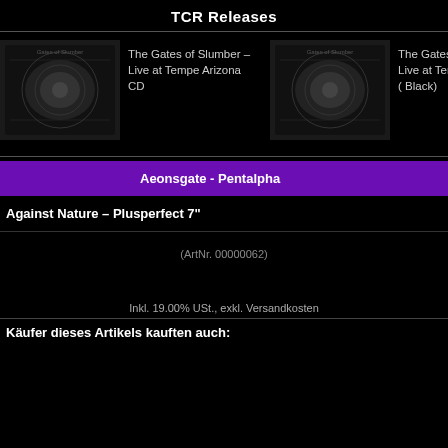TCR Releases
[Figure (photo): Album art for The Gates of Slumber – Live at Tempe Arizona CD]
The Gates of Slumber – Live at Tempe Arizona CD
[Figure (photo): Album art for The Gates of Slumber – Live at Tempe Arizona LP (Black)]
The Gates of Slumber – Live at Tempe Arizona LP ( Black)
Aeonsgate - Pentalpha
Against Nature – Plusperfect 7"
(ArtNr. 00000062)
Inkl. 19.00% USt., exkl. Versandkosten
Käufer dieses Artikels kauften auch: